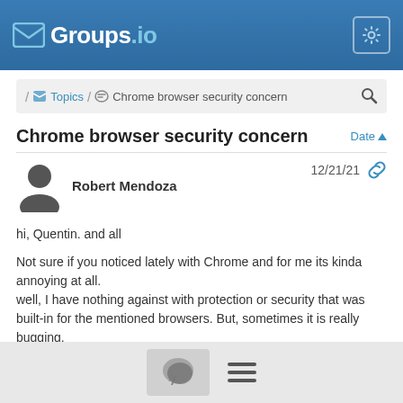Groups.io
/ Topics / Chrome browser security concern
Chrome browser security concern
Robert Mendoza  12/21/21
hi, Quentin. and all

Not sure if you noticed lately with Chrome and for me its kinda annoying at all.
well, I have nothing against with protection or security that was built-in for the mentioned browsers. But, sometimes it is really bugging.
When I visited such link that I used to even before like with NVDA